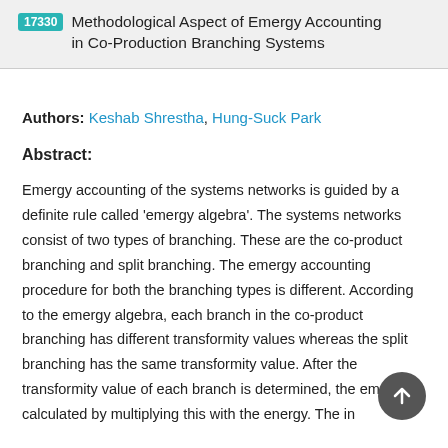17330 Methodological Aspect of Emergy Accounting in Co-Production Branching Systems
Authors: Keshab Shrestha, Hung-Suck Park
Abstract:
Emergy accounting of the systems networks is guided by a definite rule called ‘emergy algebra’. The systems networks consist of two types of branching. These are the co-product branching and split branching. The emergy accounting procedure for both the branching types is different. According to the emergy algebra, each branch in the co-product branching has different transformity values whereas the split branching has the same transformity value. After the transformity value of each branch is determined, the emergy is calculated by multiplying this with the energy. The in